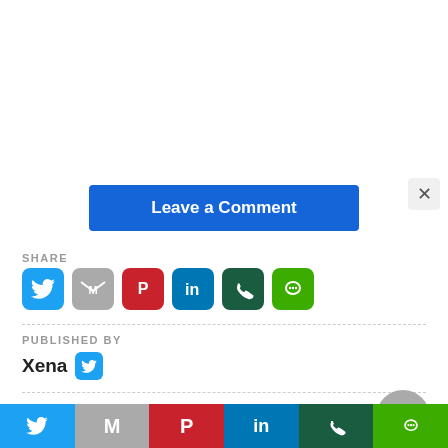[Figure (screenshot): Leave a Comment button (blue, white text) with an X close button in top right corner]
SHARE
[Figure (infographic): Social share icons: Twitter (blue), Gmail (grey), Pinterest (red), LinkedIn (blue), WhatsApp (dark green), Line (green)]
PUBLISHED BY
Xena
TAGS:
Ozark Season 4 Part 1 Cast / Ozark Season 4 Part 1
[Figure (infographic): Bottom share bar with Twitter, Gmail, Pinterest, LinkedIn, WhatsApp, Line icons]